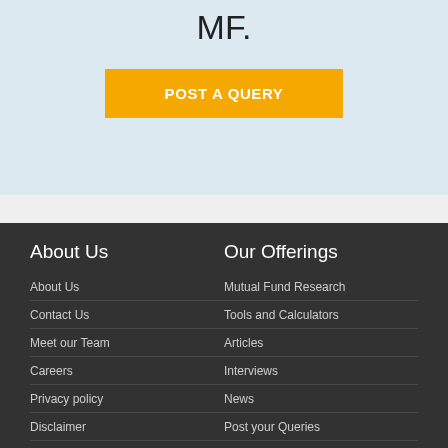MF.
POST A QUERY
About Us
About Us
Contact Us
Meet our Team
Careers
Privacy policy
Disclaimer
Terms of use
Investors FAQ
Our Offerings
Mutual Fund Research
Tools and Calculators
Articles
Interviews
News
Post your Queries
Blog
Latest announcements